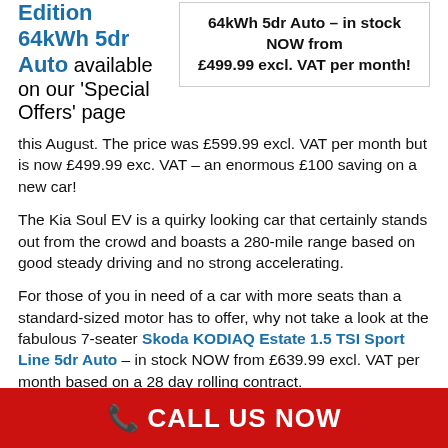Edition 64kWh 5dr Auto available on our 'Special Offers' page this August. The price was £599.99 excl. VAT per month but is now £499.99 exc. VAT – an enormous £100 saving on a new car!
64kWh 5dr Auto – in stock NOW from £499.99 excl. VAT per month!
The Kia Soul EV is a quirky looking car that certainly stands out from the crowd and boasts a 280-mile range based on good steady driving and no strong accelerating.
For those of you in need of a car with more seats than a standard-sized motor has to offer, why not take a look at the fabulous 7-seater Skoda KODIAQ Estate 1.5 TSI Sport Line 5dr Auto – in stock NOW from £639.99 excl. VAT per month based on a 28 day rolling contract.
The Skoda Kodiaq is a large, 7-seater SUV that's
CALL US NOW